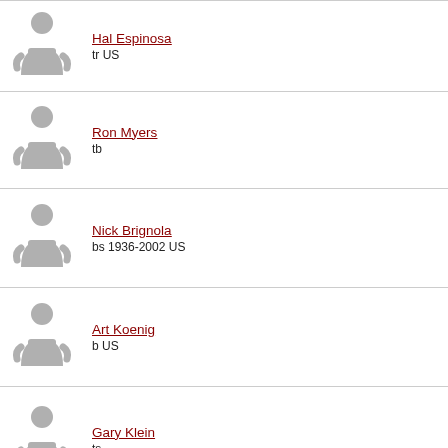Hal Espinosa
tr US
Ron Myers
tb
Nick Brignola
bs 1936-2002 US
Art Koenig
b US
Gary Klein
ts